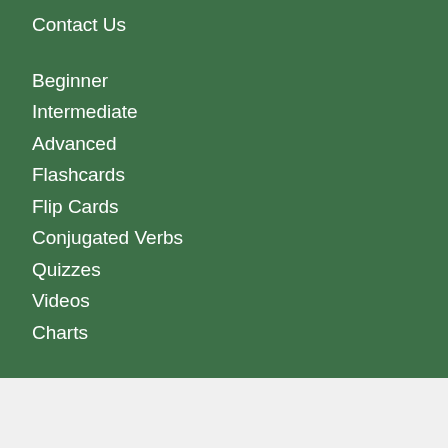Contact Us
Beginner
Intermediate
Advanced
Flashcards
Flip Cards
Conjugated Verbs
Quizzes
Videos
Charts
[Figure (photo): Advertisement banner showing a cargo airplane being loaded, with a blue panel reading WITHOUT REGARD TO POLITICS, RELIGION, OR ABILITY TO PAY]